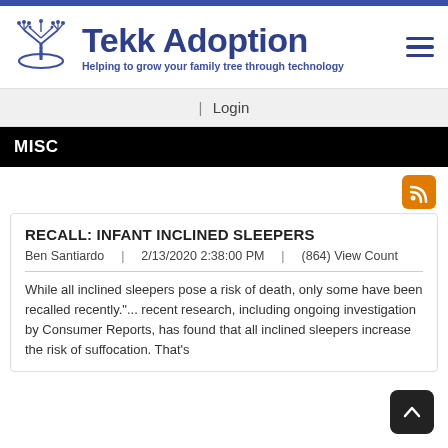[Figure (logo): Tekk Adoption logo: stylized tree with circuit board elements and orbital ring at base, in dark blue/indigo]
Tekk Adoption
Helping to grow your family tree through technology
| Login
MISC
RECALL: INFANT INCLINED SLEEPERS
Ben Santiardo | 2/13/2020 2:38:00 PM | (864) View Count
While all inclined sleepers pose a risk of death, only some have been recalled recently."... recent research, including ongoing investigation by Consumer Reports, has found that all inclined sleepers increase the risk of suffocation. That's